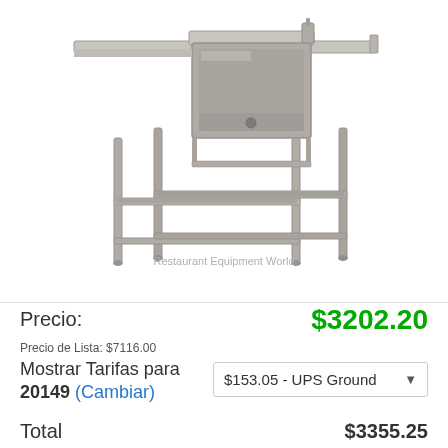[Figure (photo): Stainless steel commercial single compartment sink with left drainboard, raised on tubular legs with cross-bar supports. Product photo for Restaurant Equipment World.]
Restaurant Equipment World
Precio:
$3202.20
Precio de Lista: $7116.00
Mostrar Tarifas para 20149 (Cambiar)
$153.05 - UPS Ground
Total
$3355.25